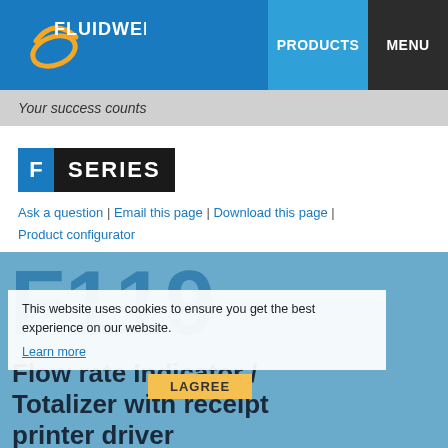FLUIDWELL | PRODUCTS | MENU
Your success counts
[Figure (logo): F SERIES badge with blue F box and dark background SERIES text]
Ask a question | Email this page | Download this page | Product configurator
This website uses cookies to ensure you get the best experience on our website. Learn more
F119
Flow rate Indicator / Totalizer with receipt printer driver